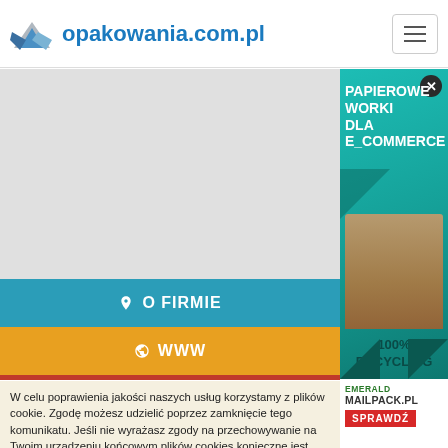opakowania.com.pl
[Figure (screenshot): Map or grey content area placeholder]
O FIRMIE
WWW
[Figure (illustration): Teal advertisement for papierowe worki dla e_commerce with 100% recycling label and paper bag image]
[Figure (logo): EMERALD MAILPACK.PL advertisement with SPRAWDŹ button]
W celu poprawienia jakości naszych usług korzystamy z plików cookie. Zgodę możesz udzielić poprzez zamknięcie tego komunikatu. Jeśli nie wyrażasz zgody na przechowywanie na Twoim urządzeniu końcowym plików cookies konieczne jest dokonanie zmian w ustawieniach Twojej przeglądarki. Więcej informacji na temat plików cookies i ochrony danych osobowych znajdziesz w Polityce prywatności